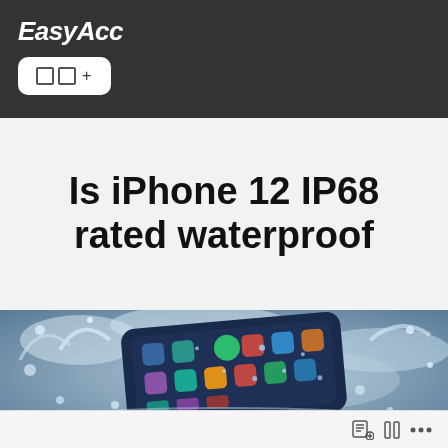EasyAcc
Is iPhone 12 IP68 rated waterproof
[Figure (photo): iPhone submerged in water with water splashing around it]